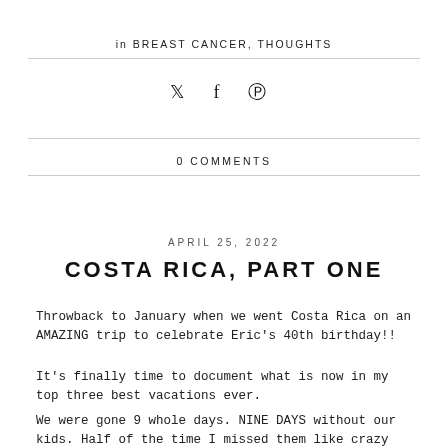in BREAST CANCER, THOUGHTS
social icons: twitter, facebook, pinterest
0 COMMENTS
APRIL 25, 2022
COSTA RICA, PART ONE
Throwback to January when we went Costa Rica on an AMAZING trip to celebrate Eric's 40th birthday!!
It's finally time to document what is now in my top three best vacations ever.
We were gone 9 whole days. NINE DAYS without our kids. Half of the time I missed them like crazy and wished they were there to